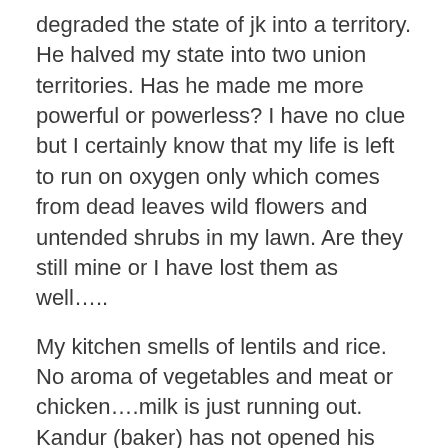degraded the state of jk into a territory. He halved my state into two union territories. Has he made me more powerful or powerless? I have no clue but I certainly know that my life is left to run on oxygen only which comes from dead leaves wild flowers and untended shrubs in my lawn. Are they still mine or I have lost them as well…..
My kitchen smells of lentils and rice. No aroma of vegetables and meat or chicken….milk is just running out.  Kandur (baker) has not opened his bakery since few days. Mostly, bakers are villagers and commute daily to Srinagar to run bakeries. They are not allowed to leave houses since 5th August. I am having rather Atkins diet….healthy food or malnourished one? Does